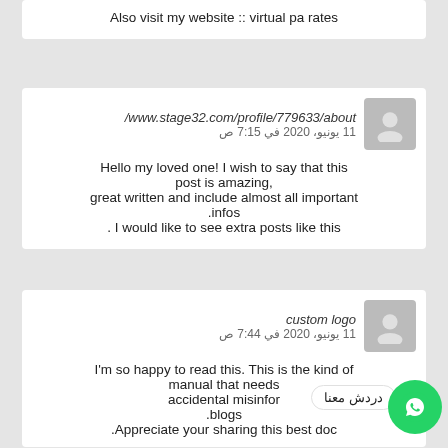Also visit my website :: virtual pa rates
/www.stage32.com/profile/779633/about
11 يونيو، 2020 في 7:15 ص
Hello my loved one! I wish to say that this post is amazing, great written and include almost all important infos. . I would like to see extra posts like this
custom logo
11 يونيو، 2020 في 7:44 ص
I'm so happy to read this. This is the kind of manual that needs accidental misinfor .blogs .Appreciate your sharing this best doc
دردش معنا